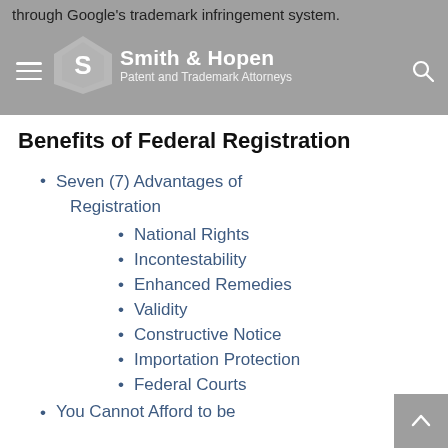through Google's trademark infringement system.
[Figure (logo): Smith & Hopen Patent and Trademark Attorneys logo and firm name header with navigation icons]
Benefits of Federal Registration
Seven (7) Advantages of Registration
National Rights
Incontestability
Enhanced Remedies
Validity
Constructive Notice
Importation Protection
Federal Courts
You Cannot Afford to be